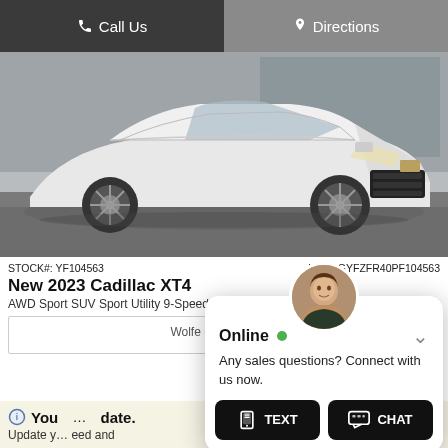Call Us | Directions
[Figure (photo): White 2023 Cadillac XT4 AWD Sport SUV photographed from front-left angle against a modern building background]
STOCK#: YF104563    VIN: 1GYFZFR40PF104563
New 2023 Cadillac XT4
AWD Sport SUV Sport Utility 9-Speed Automatic
Wolfe Cadillac Price
[Figure (screenshot): Chat widget overlay showing Online status with green dot, message 'Any sales questions? Connect with us now.' and two buttons: TEXT and CHAT]
You ... date.
Update y... eed and